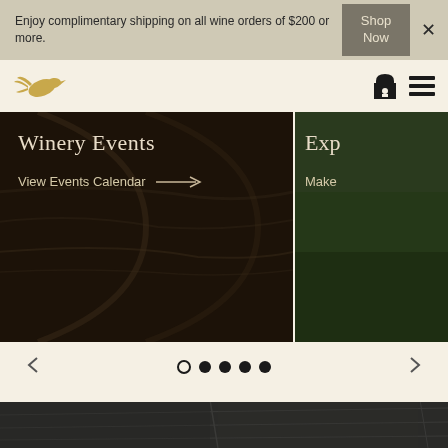Enjoy complimentary shipping on all wine orders of $200 or more.
Shop Now
[Figure (logo): Golden bird/dove logo for winery]
[Figure (screenshot): Winery website screenshot showing 'Winery Events' card with 'View Events Calendar' link and arrow, plus partial 'Exp...' / 'Make...' card to the right]
Winery Events
View Events Calendar →
Exp
Make
[Figure (photo): Dark stone/concrete patio or terrace at the bottom of the page]